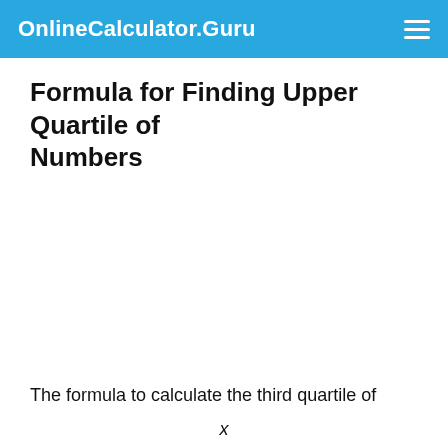OnlineCalculator.Guru
Formula for Finding Upper Quartile of Numbers
The formula to calculate the third quartile of